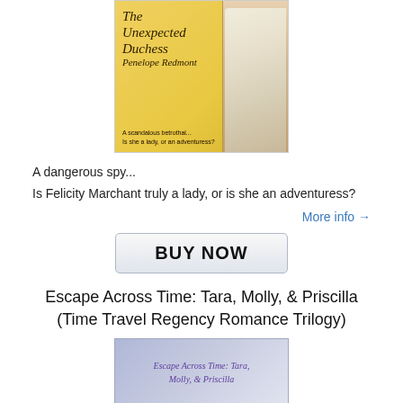[Figure (illustration): Book cover for 'The Unexpected Duchess' by Penelope Redmont. Yellow background with a woman in a white Regency-era dress on the right side. Taglines: 'A scandalous betrothal...' and 'Is she a lady, or an adventuress?']
A dangerous spy...
Is Felicity Marchant truly a lady, or is she an adventuress?
More info →
[Figure (other): BUY NOW button — a large rectangular button with light grey/blue gradient and bold black text 'BUY NOW']
Escape Across Time: Tara, Molly, & Priscilla (Time Travel Regency Romance Trilogy)
[Figure (illustration): Book cover for 'Escape Across Time: Tara, Molly, & Priscilla' with cursive purple text on a light background.]